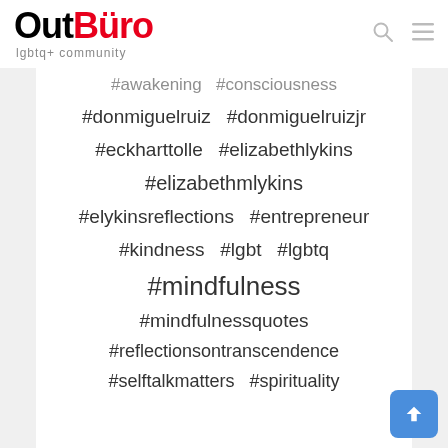OutBüro lgbtq+ community
#awakening  #consciousness
#donmiguelruiz  #donmiguelruizjr
#eckharttolle  #elizabethlykins
#elizabethmlykins
#elykinsreflections  #entrepreneur
#kindness  #lgbt  #lgbtq
#mindfulness
#mindfulnessquotes
#reflectionsontranscendence
#selftalkmatters  #spirituality